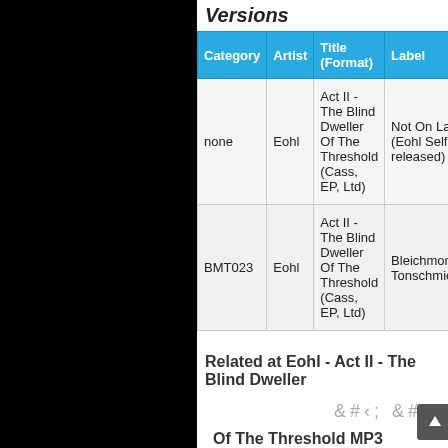Versions
| Category | Artist | Title (Format) | Label | Cat |
| --- | --- | --- | --- | --- |
| none | Eohl | Act II - The Blind Dweller Of The Threshold (Cass, EP, Ltd) | Not On Label (Eohl Self-released) | no |
| BMT023 | Eohl | Act II - The Blind Dweller Of The Threshold (Cass, EP, Ltd) | Bleichmond Tonschmiede | BM |
Related at Eohl - Act II - The Blind Dweller
Of The Threshold MP3 albums: